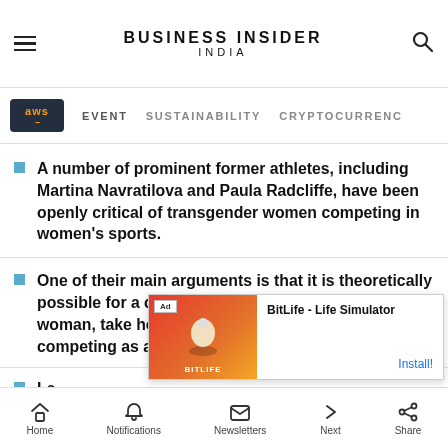BUSINESS INSIDER INDIA
EVENT  SUSTAINABILITY  CRYPTOCURRENCY
A number of prominent former athletes, including Martina Navratilova and Paula Radcliffe, have been openly critical of transgender women competing in women's sports.
One of their main arguments is that it is theoretically possible for a cisgender man to "decide" to be a woman, take hormones, win and earn money while competing as a female, the
Le...                                                 ld
[Figure (screenshot): BitLife - Life Simulator ad overlay with Install! button]
Home  Notifications  Newsletters  Next  Share